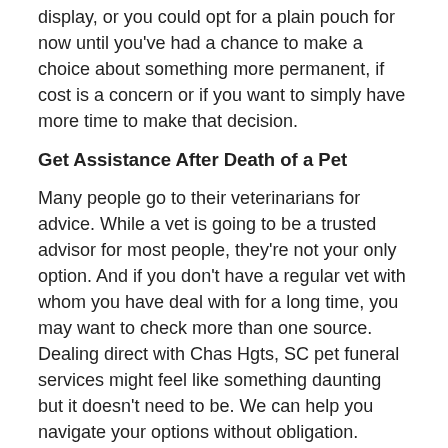display, or you could opt for a plain pouch for now until you've had a chance to make a choice about something more permanent, if cost is a concern or if you want to simply have more time to make that decision.
Get Assistance After Death of a Pet
Many people go to their veterinarians for advice. While a vet is going to be a trusted advisor for most people, they're not your only option. And if you don't have a regular vet with whom you have deal with for a long time, you may want to check more than one source. Dealing direct with Chas Hgts, SC pet funeral services might feel like something daunting but it doesn't need to be. We can help you navigate your options without obligation.
It's not necessary to struggle with the arduous task of choosing pet's final arrangements blindly or alone. We freely share information about the basics as well as extra options to help you see all of what might be available.